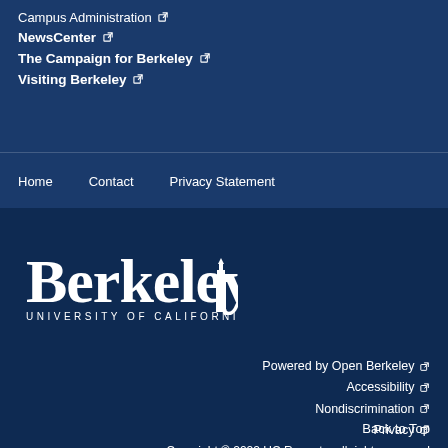Campus Administration [external link]
NewsCenter [external link]
The Campaign for Berkeley [external link]
Visiting Berkeley [external link]
Home
Contact
Privacy Statement
[Figure (logo): Berkeley University of California wordmark logo in white]
Powered by Open Berkeley [external link]
Accessibility [external link]
Nondiscrimination [external link]
Privacy [external link]
Copyright © 2022 UC Regents; all rights reserved
Back to Top